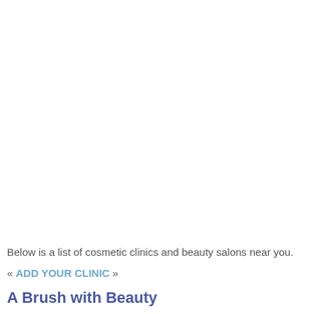Below is a list of cosmetic clinics and beauty salons near you.
« ADD YOUR CLINIC »
A Brush with Beauty